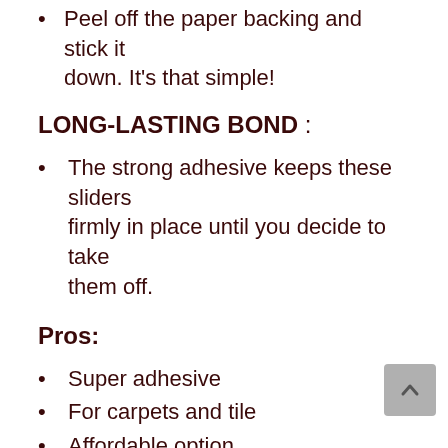Peel off the paper backing and stick it down. It's that simple!
LONG-LASTING BOND :
The strong adhesive keeps these sliders firmly in place until you decide to take them off.
Pros:
Super adhesive
For carpets and tile
Affordable option
Cons: